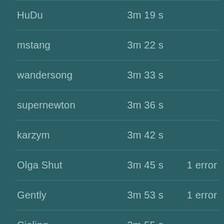| Name | Time | Errors |
| --- | --- | --- |
| HuDu | 3m 19 s |  |
| mstang | 3m 22 s |  |
| wandersong | 3m 33 s |  |
| supernewton | 3m 36 s |  |
| karzym | 3m 42 s |  |
| Olga Shut | 3m 45 s | 1 error |
| Gently | 3m 53 s | 1 error |
| Cieling | 3m 55 s |  |
| Fatih Kamer Anda | 4m 4 s |  |